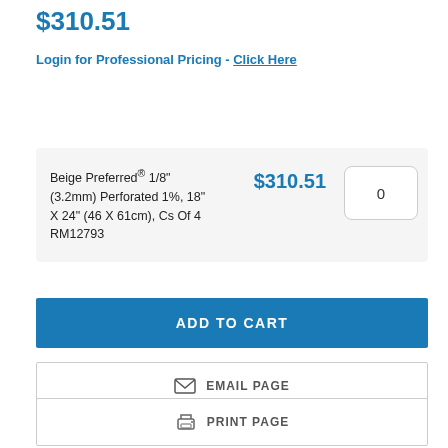$310.51
Login for Professional Pricing - Click Here
| Product | Price | Qty |
| --- | --- | --- |
| Beige Preferred® 1/8" (3.2mm) Perforated 1%, 18" X 24" (46 X 61cm), Cs Of 4 RM12793 | $310.51 | 0 |
ADD TO CART
EMAIL PAGE
PRINT PAGE